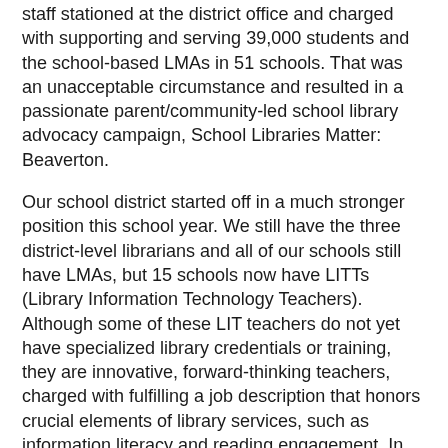staff stationed at the district office and charged with supporting and serving 39,000 students and the school-based LMAs in 51 schools. That was an unacceptable circumstance and resulted in a passionate parent/community-led school library advocacy campaign, School Libraries Matter: Beaverton.
Our school district started off in a much stronger position this school year. We still have the three district-level librarians and all of our schools still have LMAs, but 15 schools now have LITTs (Library Information Technology Teachers). Although some of these LIT teachers do not yet have specialized library credentials or training, they are innovative, forward-thinking teachers, charged with fulfilling a job description that honors crucial elements of library services, such as information literacy and reading engagement. In addition, the school district now has a top-level official who is charged with overseeing school innovation from a teaching and learning perspective. This leader has a clear awareness of the value and importance of strong, fully staffed libraries. It's our hope (and understanding) that additional schools will gain LITTs in subsequent school years.